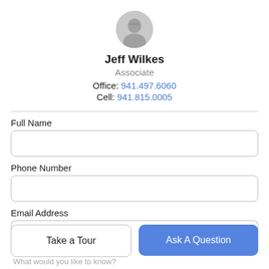[Figure (photo): Circular avatar photo of Jeff Wilkes, a man wearing glasses and a light pink shirt]
Jeff Wilkes
Associate
Office: 941.497.6060
Cell: 941.815.0005
Full Name
Phone Number
Email Address
Take a Tour
Ask A Question
What would you like to know?